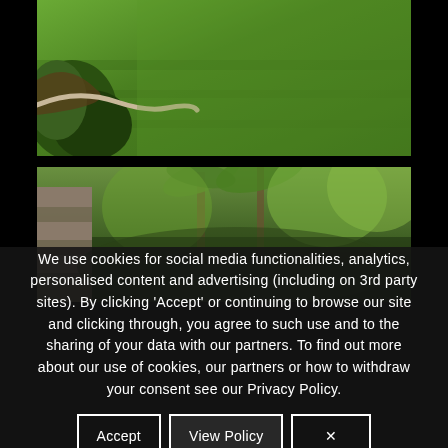[Figure (photo): Photograph of a well-manicured green lawn with shrubs and a curved concrete border edging a garden bed with mulch]
[Figure (photo): Photograph of a garden with trees, palms, and lush tropical/subtropical vegetation, partially obscured by the cookie consent overlay]
We use cookies for social media functionalities, analytics, personalised content and advertising (including on 3rd party sites). By clicking 'Accept' or continuing to browse our site and clicking through, you agree to such use and to the sharing of your data with our partners. To find out more about our use of cookies, our partners or how to withdraw your consent see our Privacy Policy.
Accept
View Policy
×